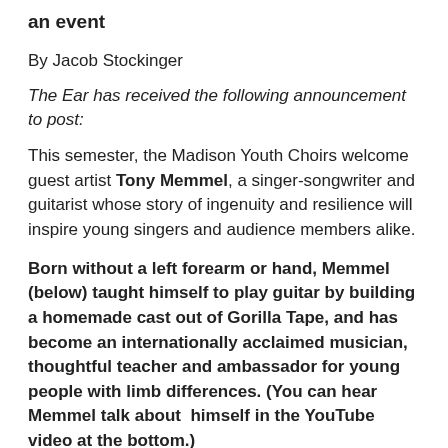an event
By Jacob Stockinger
The Ear has received the following announcement to post:
This semester, the Madison Youth Choirs welcome guest artist Tony Memmel, a singer-songwriter and guitarist whose story of ingenuity and resilience will inspire young singers and audience members alike.
Born without a left forearm or hand, Memmel (below) taught himself to play guitar by building a homemade cast out of Gorilla Tape, and has become an internationally acclaimed musician, thoughtful teacher and ambassador for young people with limb differences. (You can hear Memmel talk about himself in the YouTube video at the bottom.)